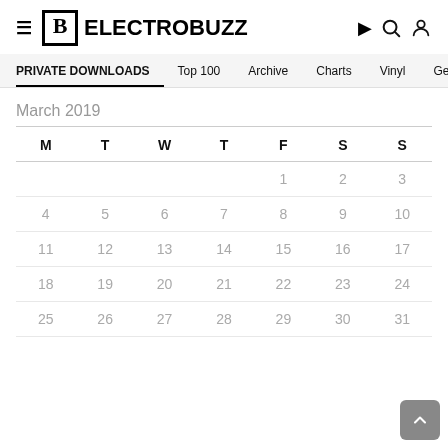EB ELECTROBUZZ
PRIVATE DOWNLOADS  Top 100  Archive  Charts  Vinyl  Genre
March 2019
| M | T | W | T | F | S | S |
| --- | --- | --- | --- | --- | --- | --- |
|  |  |  |  | 1 | 2 | 3 |
| 4 | 5 | 6 | 7 | 8 | 9 | 10 |
| 11 | 12 | 13 | 14 | 15 | 16 | 17 |
| 18 | 19 | 20 | 21 | 22 | 23 | 24 |
| 25 | 26 | 27 | 28 | 29 | 30 | 31 |